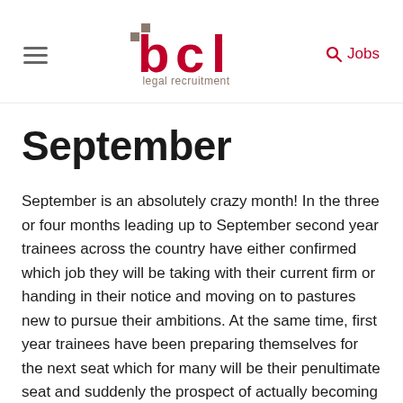[Figure (logo): BCL Legal Recruitment logo — red stylized 'bcl' text with small grey squares, grey 'legal recruitment' text below]
September
September is an absolutely crazy month! In the three or four months leading up to September second year trainees across the country have either confirmed which job they will be taking with their current firm or handing in their notice and moving on to pastures new to pursue their ambitions. At the same time, first year trainees have been preparing themselves for the next seat which for many will be their penultimate seat and suddenly the prospect of actually becoming a solicitor